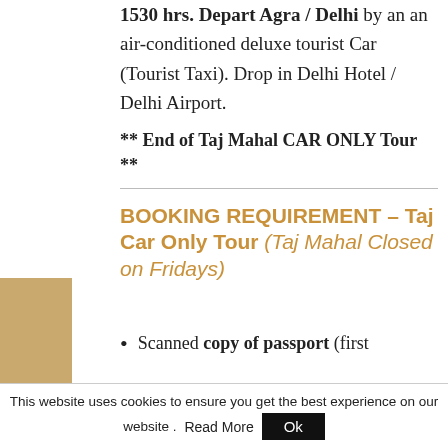1530 hrs. Depart Agra / Delhi by an an air-conditioned deluxe tourist Car (Tourist Taxi). Drop in Delhi Hotel / Delhi Airport.
** End of Taj Mahal CAR ONLY Tour **
BOOKING REQUIREMENT – Taj Car Only Tour (Taj Mahal Closed on Fridays)
Scanned copy of passport (first
This website uses cookies to ensure you get the best experience on our website . Read More Ok